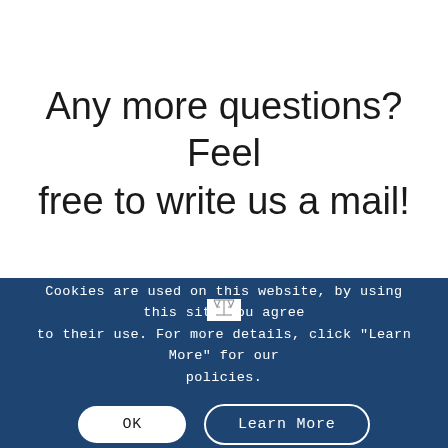Any more questions? Feel free to write us a mail!
Cookies are used on this website, by using this site you agree to their use. For more details, click "Learn More" for our policies.